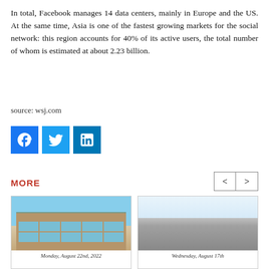In total, Facebook manages 14 data centers, mainly in Europe and the US. At the same time, Asia is one of the fastest growing markets for the social network: this region accounts for 40% of its active users, the total number of whom is estimated at about 2.23 billion.
source: wsj.com
[Figure (other): Social media share icons: Facebook (blue, f), Twitter (blue, bird), LinkedIn (blue, in)]
MORE
[Figure (photo): Photo of a modern office building with glass facade under blue sky]
Monday, August 22nd, 2022
[Figure (photo): Photo of a flat landscape with trees on the horizon under a pale sky]
Wednesday, August 17th